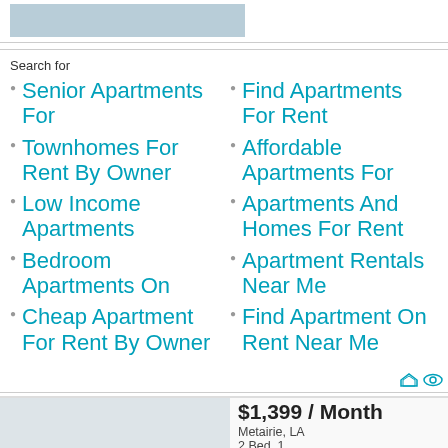[Figure (photo): Partial apartment or room photo at top of page]
Search for
Senior Apartments For
Townhomes For Rent By Owner
Low Income Apartments
Bedroom Apartments On
Cheap Apartment For Rent By Owner
Find Apartments For Rent
Affordable Apartments For
Apartments And Homes For Rent
Apartment Rentals Near Me
Find Apartment On Rent Near Me
$1,399 / Month
Metairie, LA
2 Bed, 1
Apartment For Rent
Available Now!